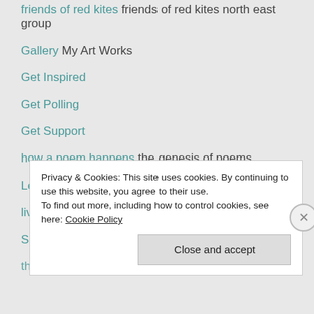friends of red kites friends of red kites north east group
Gallery My Art Works
Get Inspired
Get Polling
Get Support
how a poem happens the genesis of poems
Learn WordPress.com
living alongside wildlife Ecology – conservation
Soto Zen Practice Buddhist Abbey, UK
the zen site everything about zen buddhism
Privacy & Cookies: This site uses cookies. By continuing to use this website, you agree to their use.
To find out more, including how to control cookies, see here: Cookie Policy